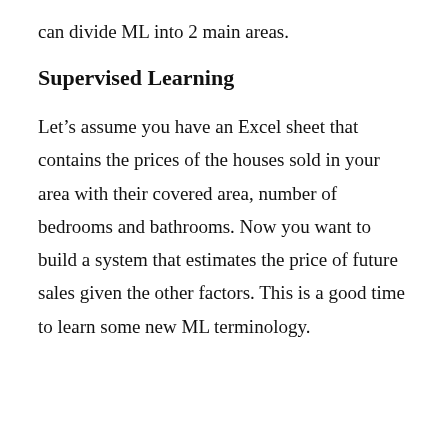can divide ML into 2 main areas.
Supervised Learning
Let’s assume you have an Excel sheet that contains the prices of the houses sold in your area with their covered area, number of bedrooms and bathrooms. Now you want to build a system that estimates the price of future sales given the other factors. This is a good time to learn some new ML terminology.